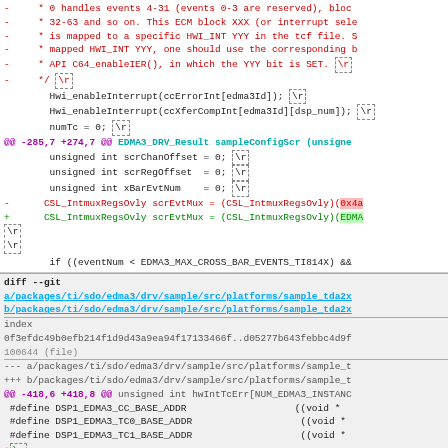Diff code snippet showing removed lines about ECM block HWI_INT mapping and API C64_enableIER, followed by code lines with Hwi_enableInterrupt calls and numTc assignment, then hunk headers and code changes for sampleConfigScr function including CSL_IntmuxRegsOvly scrEvtMux changes, then a second diff block for sample_tda2x file with #define DSP1_EDMA3 base address macros.